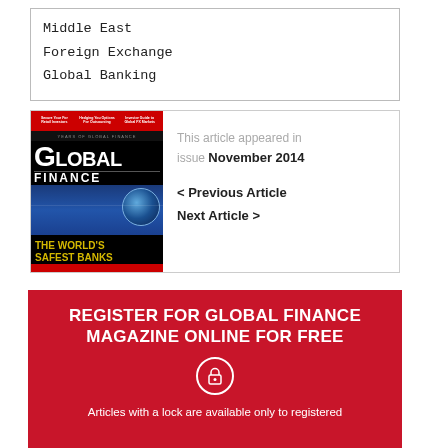Middle East
Foreign Exchange
Global Banking
[Figure (illustration): Global Finance magazine cover for November 2014 featuring 'The World's Safest Banks' special issue with globe imagery]
This article appeared in issue November 2014
< Previous Article
Next Article >
REGISTER FOR GLOBAL FINANCE MAGAZINE ONLINE FOR FREE
Articles with a lock are available only to registered